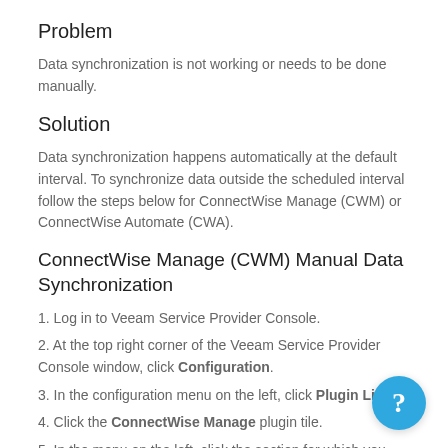Problem
Data synchronization is not working or needs to be done manually.
Solution
Data synchronization happens automatically at the default interval. To synchronize data outside the scheduled interval follow the steps below for ConnectWise Manage (CWM) or ConnectWise Automate (CWA).
ConnectWise Manage (CWM) Manual Data Synchronization
1. Log in to Veeam Service Provider Console.
2. At the top right corner of the Veeam Service Provider Console window, click Configuration.
3. In the configuration menu on the left, click Plugin Li…
4. Click the ConnectWise Manage plugin tile.
5. In the menu on the left, click the section for which you